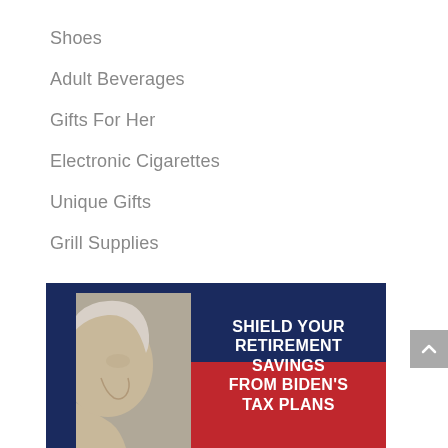Shoes
Adult Beverages
Gifts For Her
Electronic Cigarettes
Unique Gifts
Grill Supplies
[Figure (photo): Advertisement banner with a photo of an elderly man's profile on the left, overlaid with bold white text on a dark blue and red background reading: SHIELD YOUR RETIREMENT SAVINGS FROM BIDEN'S TAX PLANS]